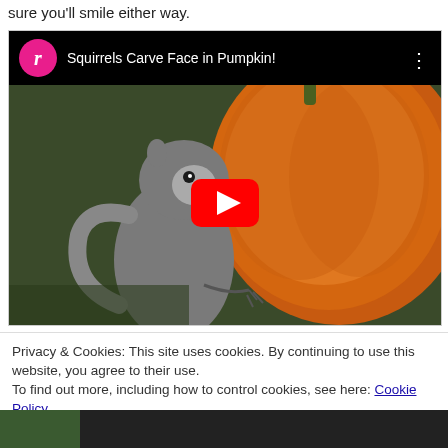sure you'll smile either way.
[Figure (screenshot): YouTube video embed showing a squirrel next to a pumpkin. Title: 'Squirrels Carve Face in Pumpkin!' with a pink channel icon showing letter 'r', a red play button in the center of the thumbnail.]
Privacy & Cookies: This site uses cookies. By continuing to use this website, you agree to their use.
To find out more, including how to control cookies, see here: Cookie Policy
Close and accept